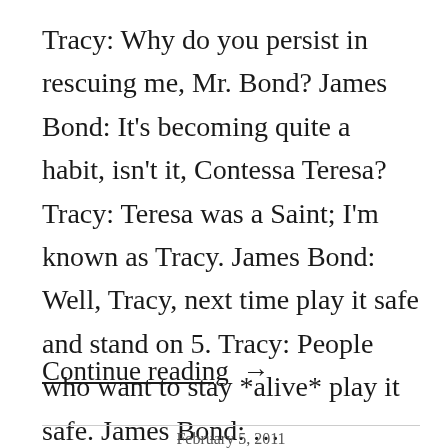Tracy: Why do you persist in rescuing me, Mr. Bond? James Bond: It's becoming quite a habit, isn't it, Contessa Teresa? Tracy: Teresa was a Saint; I'm known as Tracy. James Bond: Well, Tracy, next time play it safe and stand on 5. Tracy: People who want to stay *alive* play it safe. James Bond: …
Continue reading →
February 5, 2011